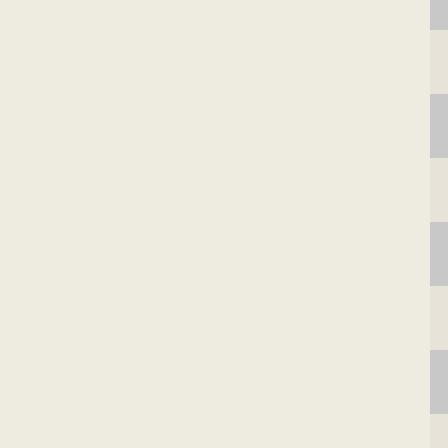|  | Accession | Gene | Description |
| --- | --- | --- | --- |
| ☐ | NC_009667 | Oant_0882 | phage inte… |
| ☐ | NC_010172 | Mext_3077 | integrase |
| ☐ | NC_012803 | Mlut_09660 | site-specific integrase |
| ☐ | NC_012034 | Athe_2540 | integrase |
| ☐ | NC_008726 | Mvan_2508 | phage inte… |
| ☐ | NC_012034 | Athe_0747 | integrase |
| ☐ | NC_013947 | Snas_0457 | integrase |
| ☐ | NC_010184 | BcerKBAB4_1187 | integrase |
| ☐ | NC_008148 | Rxyl_2219 | phage inte… |